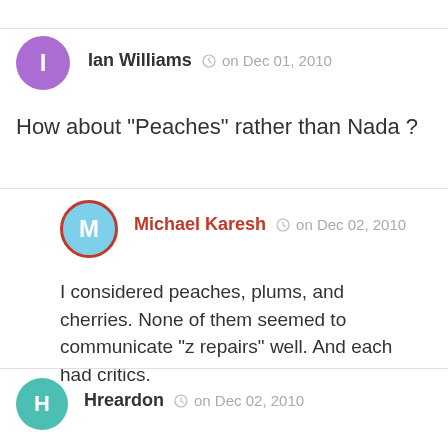Ian Williams  on Dec 01, 2010
How about "Peaches" rather than Nada ?
Michael Karesh  on Dec 02, 2010
I considered peaches, plums, and cherries. None of them seemed to communicate "zero repairs" well. And each had critics.
Hreardon  on Dec 02, 2010
Question for you: how are you classifying "repairs"? It says that the Q5 and Hyundai required more repairs